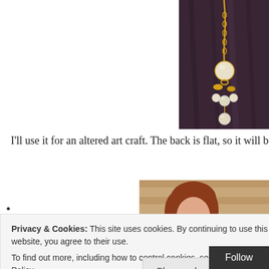[Figure (photo): Close-up photo of a gold pendant necklace with pearl-like spheres on a dark purple/maroon fabric background]
I'll use it for an altered art craft. The back is flat, so it will be ea
•
[Figure (photo): Photo of a person with red/auburn hair, partial view, with wood panel blinds in background]
Privacy & Cookies: This site uses cookies. By continuing to use this website, you agree to their use.
To find out more, including how to control cookies, see here: Cookie Policy
Close and accept
Follow